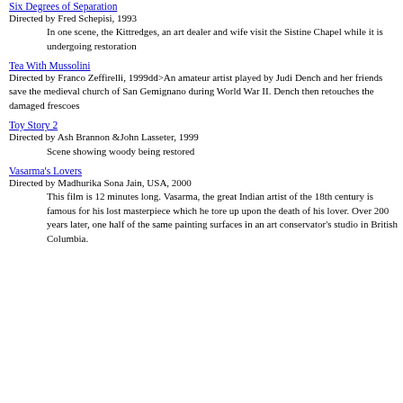the souls of all humanity, she does not save any art on screen
Six Degrees of Separation
Directed by Fred Schepisi, 1993
In one scene, the Kittredges, an art dealer and wife visit the Sistine Chapel while it is undergoing restoration
Tea With Mussolini
Directed by Franco Zeffirelli, 1999dd>An amateur artist played by Judi Dench and her friends save the medieval church of San Gemignano during World War II. Dench then retouches the damaged frescoes
Toy Story 2
Directed by Ash Brannon &John Lasseter, 1999
Scene showing woody being restored
Vasarma's Lovers
Directed by Madhurika Sona Jain, USA, 2000
This film is 12 minutes long. Vasarma, the great Indian artist of the 18th century is famous for his lost masterpiece which he tore up upon the death of his lover. Over 200 years later, one half of the same painting surfaces in an art conservator's studio in British Columbia.